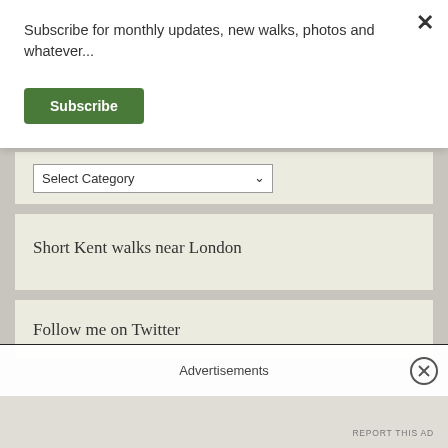Subscribe for monthly updates, new walks, photos and whatever...
Subscribe
Select Category
Short Kent walks near London
Follow me on Twitter
Advertisements
REPORT THIS AD